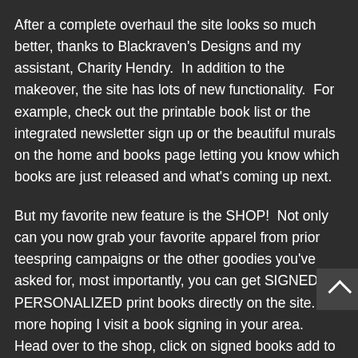After a complete overhaul the site looks so much better, thanks to Blackraven's Designs and my assistant, Charity Hendry.  In addition to the makeover, the site has lots of new functionality.  For example, check out the printable book list or the integrated newsletter sign up or the beautiful murals on the home and books page letting you know which books are just released and what's coming up next.
But my favorite new feature is the SHOP!  Not only can you now grab your favorite apparel from prior teespring campaigns or the other goodies you've asked for, most importantly, you can get SIGNED & PERSONALIZED print books directly on the site.  No more hoping I visit a book signing in your area.  Head over to the shop, click on signed books add to your cart and be sure to add the name you'd like each book made out to and any inscription requests in the Notes box during checkout.  I'll take care of the rest!